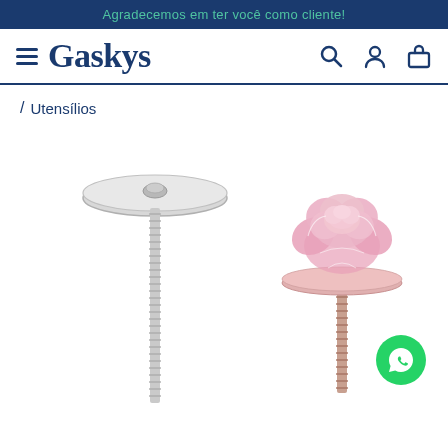Agradecemos em ter você como cliente!
[Figure (logo): Gaskys brand logo with hamburger menu icon]
/ Utensílios
[Figure (photo): Two cake pop / flower display sticks: left one is a silver metallic stick with a flat disc top (plain), right one is same style with a pink rose decoration on top. A green WhatsApp contact button appears in bottom right.]